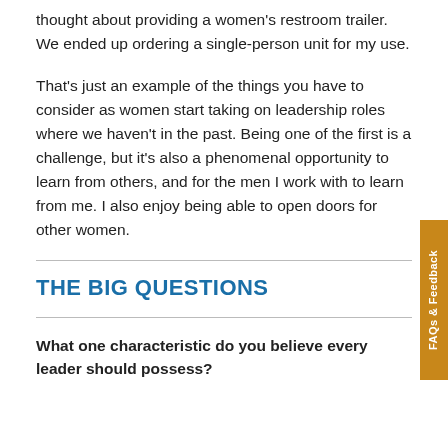thought about providing a women's restroom trailer. We ended up ordering a single-person unit for my use.
That's just an example of the things you have to consider as women start taking on leadership roles where we haven't in the past. Being one of the first is a challenge, but it's also a phenomenal opportunity to learn from others, and for the men I work with to learn from me. I also enjoy being able to open doors for other women.
THE BIG QUESTIONS
What one characteristic do you believe every leader should possess?